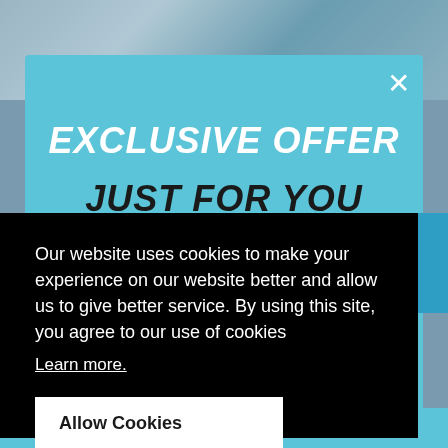[Figure (screenshot): Background product image showing automotive accessories/pump products on a blurred e-commerce website page with light blue and gray tones]
EXCLUSIVE OFFER
JUST FOR YOU
Our website uses cookies to make your experience on our website better and allow us to give better service. By using this site, you agree to our use of cookies
Learn more.
Allow Cookies